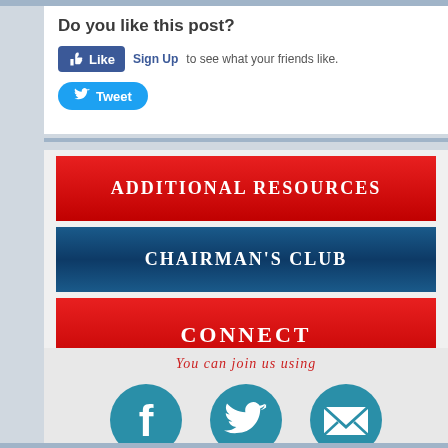Do you like this post?
Like  Sign Up to see what your friends like.
Tweet
ADDITIONAL RESOURCES
CHAIRMAN'S CLUB
CONNECT
You can join us using
[Figure (illustration): Three social media icons: Facebook (blue circle with f logo), Twitter (blue circle with bird logo), Email (blue circle with envelope logo)]